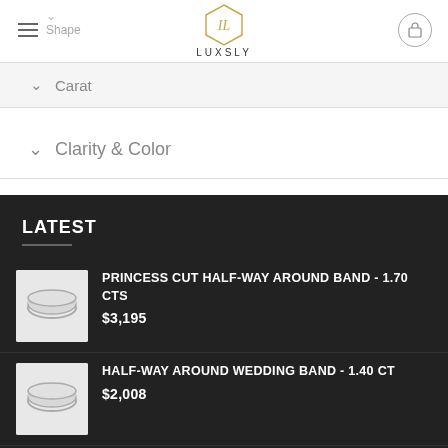LUXSLY
Shape
Carat
Clarity & Color
LATEST
PRINCESS CUT HALF-WAY AROUND BAND - 1.70 CTS
$3,195
HALF-WAY AROUND WEDDING BAND - 1.40 CT
$2,008
DIAMOND RING - 1.10 CARAT